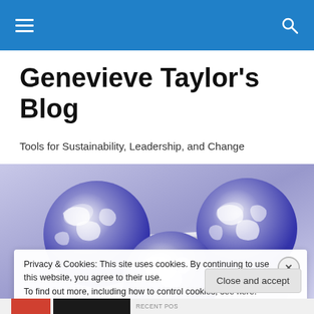Navigation bar with hamburger menu and search icon
Genevieve Taylor’s Blog
Tools for Sustainability, Leadership, and Change
[Figure (illustration): Three metallic globe spheres connected by chrome rods on a purple/lavender gradient background, forming a molecular/network structure]
Privacy & Cookies: This site uses cookies. By continuing to use this website, you agree to their use.
To find out more, including how to control cookies, see here: Cookie Policy
Close and accept